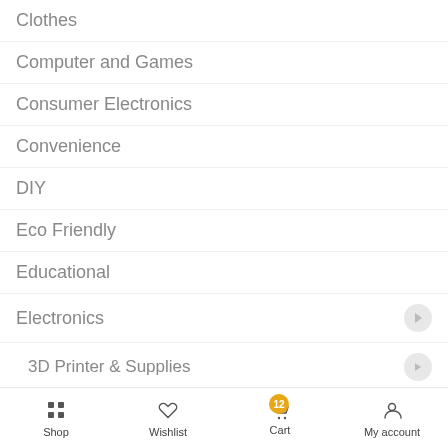Clothes
Computer and Games
Consumer Electronics
Convenience
DIY
Eco Friendly
Educational
Electronics
3D Printer & Supplies
Consumer Electronics
Audio & Video Devices
Shop  Wishlist  Cart  My account